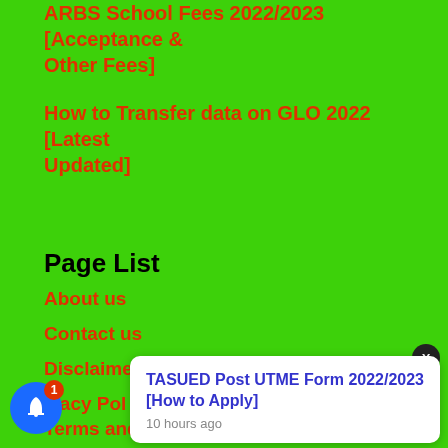ARBS School Fees 2022/2023 [Acceptance & Other Fees]
How to Transfer data on GLO 2022 [Latest Updated]
Page List
About us
Contact us
Disclaimer
Privacy Policy
Terms and conditions
TASUED Post UTME Form 2022/2023 [How to Apply]
10 hours ago